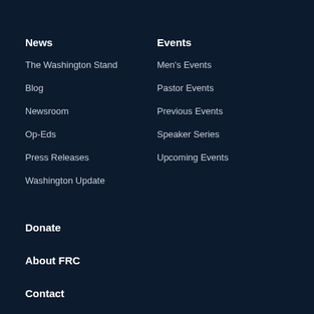News
The Washington Stand
Blog
Newsroom
Op-Eds
Press Releases
Washington Update
Events
Men's Events
Pastor Events
Previous Events
Speaker Series
Upcoming Events
Donate
About FRC
Contact
Store